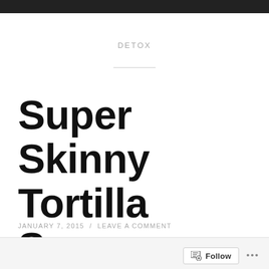DETOX
Super Skinny Tortilla Soup
JANUARY 7, 2015  /  LEAVE A COMMENT
Follow  ...